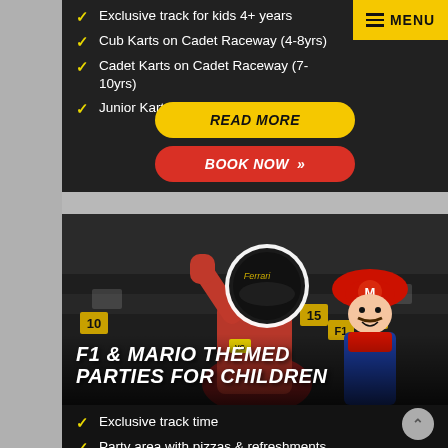Exclusive track for kids 4+ years
Cub Karts on Cadet Raceway (4-8yrs)
Cadet Karts on Cadet Raceway (7-10yrs)
Junior Karts on main GP race circuit (9+)
READ MORE
BOOK NOW
[Figure (photo): Person in Ferrari racing suit and helmet raising arm, child dressed as Mario Kart character, go-kart track in background]
F1 & MARIO THEMED PARTIES FOR CHILDREN
Exclusive track time
Party area with pizzas & refreshments